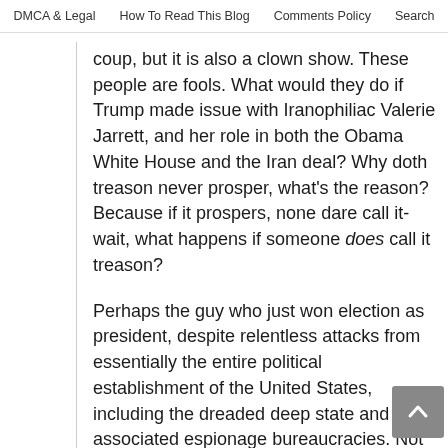DMCA & Legal   How To Read This Blog   Comments Policy   Search
coup, but it is also a clown show. These people are fools. What would they do if Trump made issue with Iranophiliac Valerie Jarrett, and her role in both the Obama White House and the Iran deal? Why doth treason never prosper, what's the reason? Because if it prospers, none dare call it-wait, what happens if someone does call it treason?
Perhaps the guy who just won election as president, despite relentless attacks from essentially the entire political establishment of the United States, including the dreaded deep state and its associated espionage bureaucracies. Not only that, but the guy in charge of the Justice Department is a